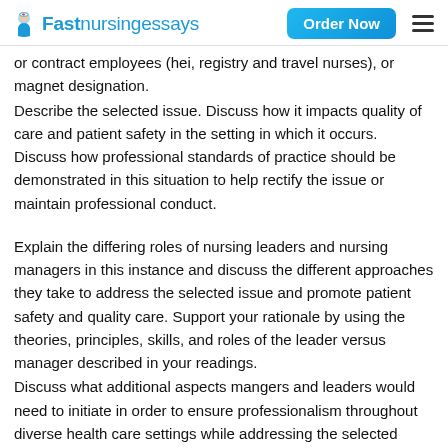Fastnursingessays | Order Now
or contract employees (hei, registry and travel nurses), or magnet designation.
Describe the selected issue. Discuss how it impacts quality of care and patient safety in the setting in which it occurs. Discuss how professional standards of practice should be demonstrated in this situation to help rectify the issue or maintain professional conduct.
Explain the differing roles of nursing leaders and nursing managers in this instance and discuss the different approaches they take to address the selected issue and promote patient safety and quality care. Support your rationale by using the theories, principles, skills, and roles of the leader versus manager described in your readings.
Discuss what additional aspects mangers and leaders would need to initiate in order to ensure professionalism throughout diverse health care settings while addressing the selected issue. Benchmark – Effective Approaches in Leadership and